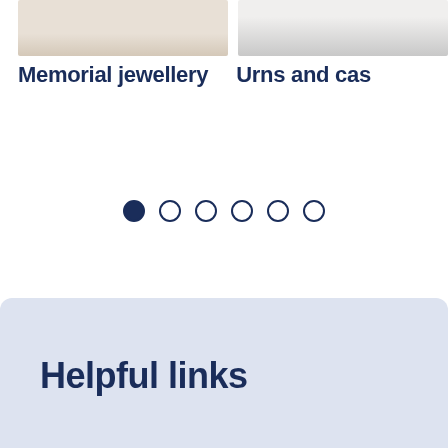[Figure (photo): Partial view of cream/beige knitted or textured fabric product (memorial jewellery item), cropped at top]
[Figure (photo): Partial view of white/light grey urn or casket product, cropped at top]
Memorial jewellery
Urns and cas
[Figure (other): Carousel navigation dots: one filled dot followed by five empty dots]
Helpful links